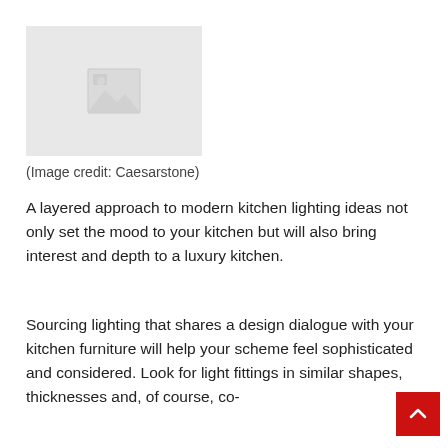[Figure (photo): Placeholder image with grey background and image icon]
(Image credit: Caesarstone)
A layered approach to modern kitchen lighting ideas not only set the mood to your kitchen but will also bring interest and depth to a luxury kitchen.
Sourcing lighting that shares a design dialogue with your kitchen furniture will help your scheme feel sophisticated and considered. Look for light fittings in similar shapes, thicknesses and, of course, co-